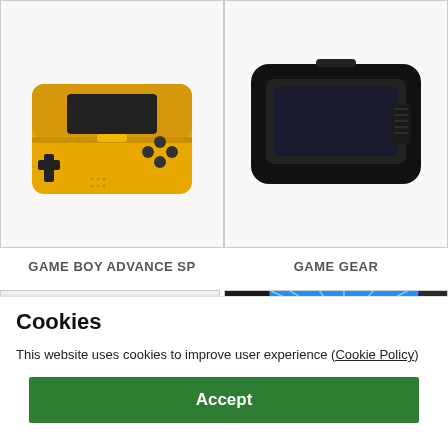[Figure (photo): Game Boy Advance SP handheld console, gold/yellow color, shown open from above]
[Figure (photo): Sega Game Gear handheld console, black color, top view showing screen and buttons]
GAME BOY ADVANCE SP
GAME GEAR
[Figure (photo): Nintendo Switch handheld console with gray Joy-Con controllers, partially visible]
[Figure (photo): Sega Game Gear promotional image showing joystick graphic on blue background, partially cropped]
Cookies
This website uses cookies to improve user experience (Cookie Policy)
Accept